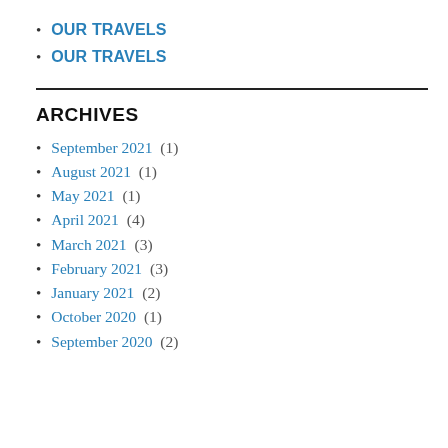OUR TRAVELS
OUR TRAVELS
ARCHIVES
September 2021 (1)
August 2021 (1)
May 2021 (1)
April 2021 (4)
March 2021 (3)
February 2021 (3)
January 2021 (2)
October 2020 (1)
September 2020 (2)